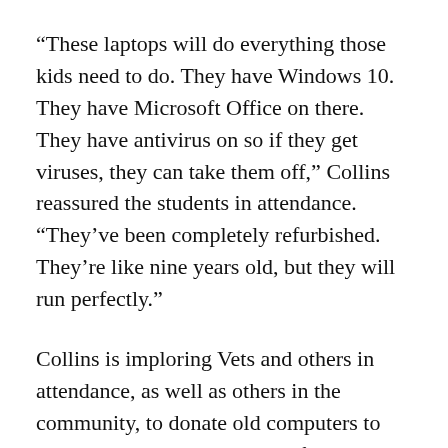“These laptops will do everything those kids need to do. They have Windows 10. They have Microsoft Office on there. They have antivirus on so if they get viruses, they can take them off,” Collins reassured the students in attendance. “They’ve been completely refurbished. They’re like nine years old, but they will run perfectly.”
Collins is imploring Vets and others in attendance, as well as others in the community, to donate old computers to the AmVets Post 9-1-1, even if they don’t believe it works anymore.
“Let me say this,” Collins concluded. “Even if